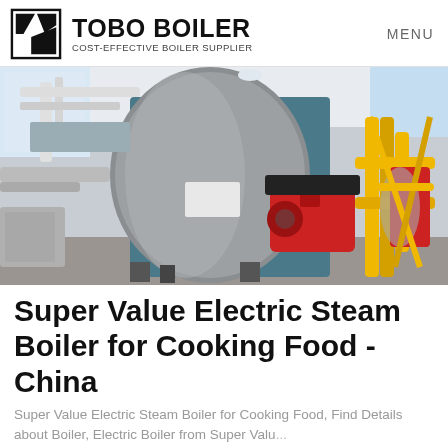[Figure (logo): Tobo Boiler logo with black geometric icon and bold text 'TOBO BOILER', subtitle 'COST-EFFECTIVE BOILER SUPPLIER']
MENU
[Figure (photo): Industrial boiler room with large cylindrical steel boiler, red burner assembly, yellow gas pipes, and white industrial building interior]
Super Value Electric Steam Boiler for Cooking Food - China
Super Value Electric Steam Boiler for Cooking Food, Find Details about Boiler, Electric Boiler from Super Valu...